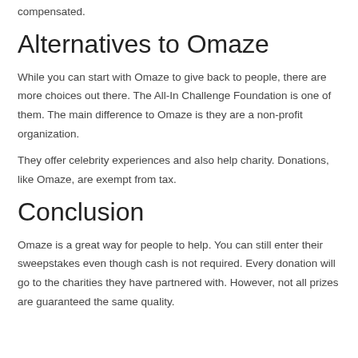compensated.
Alternatives to Omaze
While you can start with Omaze to give back to people, there are more choices out there. The All-In Challenge Foundation is one of them. The main difference to Omaze is they are a non-profit organization.
They offer celebrity experiences and also help charity. Donations, like Omaze, are exempt from tax.
Conclusion
Omaze is a great way for people to help. You can still enter their sweepstakes even though cash is not required. Every donation will go to the charities they have partnered with. However, not all prizes are guaranteed the same quality.